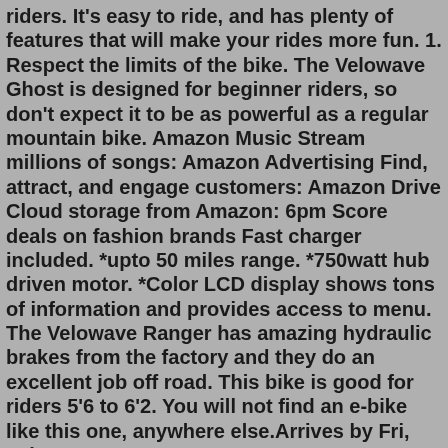riders. It's easy to ride, and has plenty of features that will make your rides more fun. 1. Respect the limits of the bike. The Velowave Ghost is designed for beginner riders, so don't expect it to be as powerful as a regular mountain bike. Amazon Music Stream millions of songs: Amazon Advertising Find, attract, and engage customers: Amazon Drive Cloud storage from Amazon: 6pm Score deals on fashion brands Fast charger included. *upto 50 miles range. *750watt hub driven motor. *Color LCD display shows tons of information and provides access to menu. The Velowave Ranger has amazing hydraulic brakes from the factory and they do an excellent job off road. This bike is good for riders 5'6 to 6'2. You will not find an e-bike like this one, anywhere else.Arrives by Fri, Jul 22 Buy VELOWAVE GHOST 500W MTB3 Electric Mountain Bike at Walmart.comThe Apollo Scooter can zip you across town at 38MPH - enough to get you in trouble if you're not mindful of local speed limits. If the Fast & Furious franchise was based on electric scooters rather than cars, the Apollo Scooter